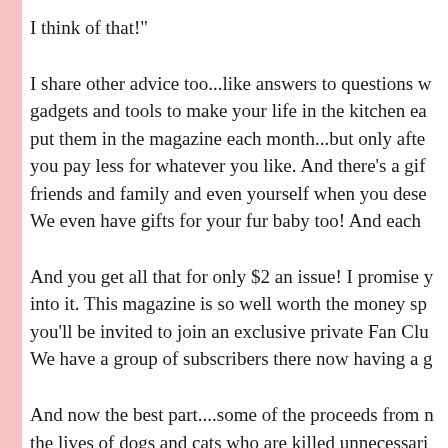I think of that!"
I share other advice too...like answers to questions w... gadgets and tools to make your life in the kitchen ea... put them in the magazine each month...but only afte... you pay less for whatever you like. And there's a gif... friends and family and even yourself when you dese... We even have gifts for your fur baby too! And each
And you get all that for only $2 an issue! I promise y... into it. This magazine is so well worth the money sp... you'll be invited to join an exclusive private Fan Clu... We have a group of subscribers there now having a g...
And now the best part....some of the proceeds from n... the lives of dogs and cats who are killed unnecessari...